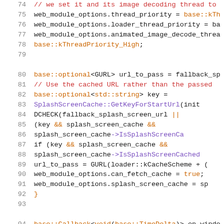[Figure (screenshot): Source code listing showing C++ code lines 74-95, with syntax highlighting. Line numbers in gray on left, comments in red, function names in purple, keywords/operators in orange, code in dark/black.]